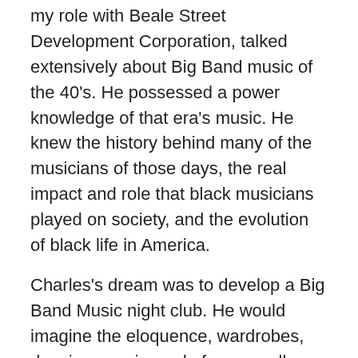my role with Beale Street Development Corporation, talked extensively about Big Band music of the 40's. He possessed a power knowledge of that era's music. He knew the history behind many of the musicians of those days, the real impact and role that black musicians played on society, and the evolution of black life in America.
Charles's dream was to develop a Big Band Music night club. He would imagine the eloquence, wardrobes, dancing, music, and of course all brought to you by the Master of Ceremony, Charles Boone. Charles is no longer, physically, with us today, but even before his transition, I was working to bring Big Band Music to K.S.R.B. I'm sure and without any doubt, Charles would have had an active role in building Kickynit Satellite Radio Broadcast, that's why we've dedicated our Big Band Music Show to Charles Boone.